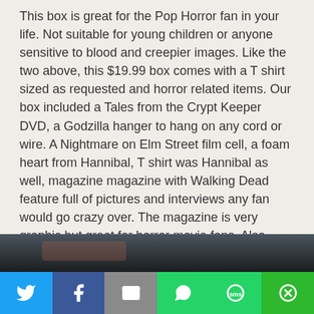This box is great for the Pop Horror fan in your life. Not suitable for young children or anyone sensitive to blood and creepier images. Like the two above, this $19.99 box comes with a T shirt sized as requested and horror related items. Our box included a Tales from the Crypt Keeper DVD, a Godzilla hanger to hang on any cord or wire. A Nightmare on Elm Street film cell, a foam heart from Hannibal, T shirt was Hannibal as well, magazine magazine with Walking Dead feature full of pictures and interviews any fan would go crazy over. The magazine is very graphic but great for horror movie fans. Also included was a Cthulhu on board hanging car sign.
[Figure (photo): Partial view of a dark horror-themed image at the bottom of the page]